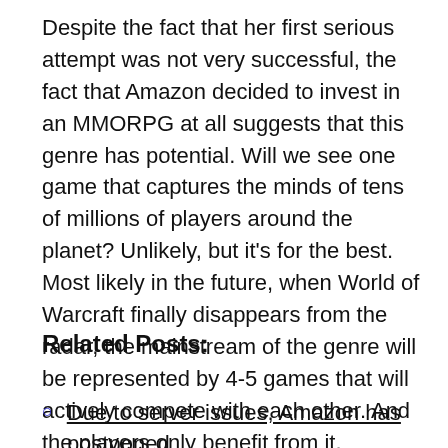Despite the fact that her first serious attempt was not very successful, the fact that Amazon decided to invest in an MMORPG at all suggests that this genre has potential. Will we see one game that captures the minds of tens of millions of players around the planet? Unlikely, but it's for the best. Most likely in the future, when World of Warcraft finally disappears from the radar, the mainstream of the genre will be represented by 4-5 games that will actively compete with each other. And the players only benefit from it.
Related Posts:
Due to server issues, Amazon has postponed